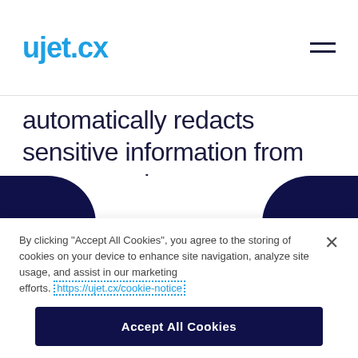ujet.cx
automatically redacts sensitive information from text transcripts.
By clicking "Accept All Cookies", you agree to the storing of cookies on your device to enhance site navigation, analyze site usage, and assist in our marketing efforts. https://ujet.cx/cookie-notice
Accept All Cookies